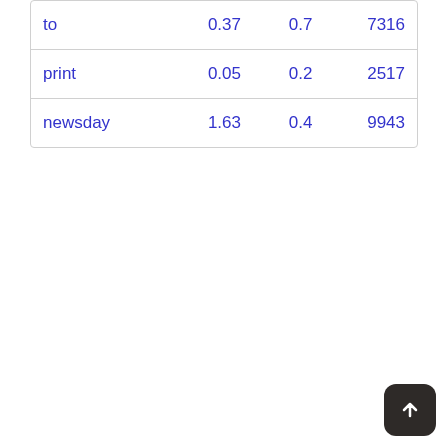| to | 0.37 | 0.7 | 7316 |
| print | 0.05 | 0.2 | 2517 |
| newsday | 1.63 | 0.4 | 9943 |